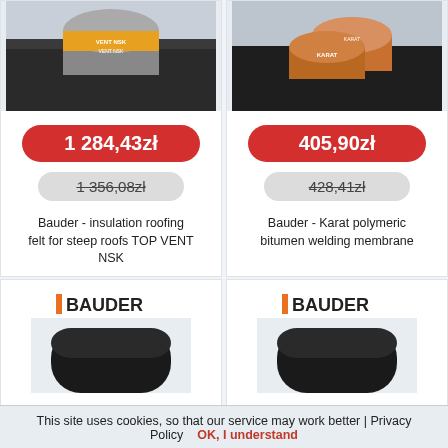[Figure (photo): Product photo of Bauder TOP VENT NSK insulation roofing felt roll on dark background]
[Figure (photo): Product photo of Bauder Karat polymeric bitumen welding membrane rolls on dark background]
1 284,43zł
1 356,08zł
405,90zł
428,41zł
Bauder - insulation roofing felt for steep roofs TOP VENT NSK
Bauder - Karat polymeric bitumen welding membrane
[Figure (photo): Bauder logo with partial product image below, dark roll of membrane]
[Figure (photo): Bauder logo with partial product image below, dark roll of membrane]
This site uses cookies, so that our service may work better | Privacy Policy   OK, I understand